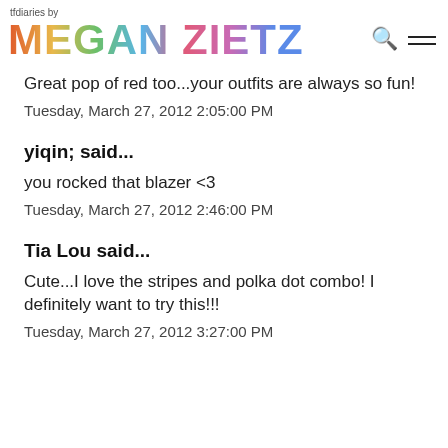tfdiaries by MEGAN ZIETZ
Great pop of red too...your outfits are always so fun!
Tuesday, March 27, 2012 2:05:00 PM
yiqin; said...
you rocked that blazer <3
Tuesday, March 27, 2012 2:46:00 PM
Tia Lou said...
Cute...I love the stripes and polka dot combo! I definitely want to try this!!!
Tuesday, March 27, 2012 3:27:00 PM